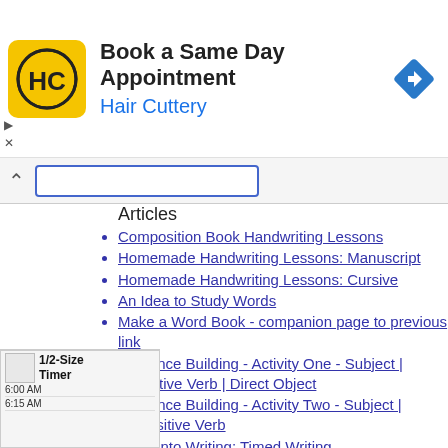[Figure (screenshot): Hair Cuttery advertisement banner: yellow logo with HC text, title 'Book a Same Day Appointment', subtitle 'Hair Cuttery' in blue, blue diamond arrow navigation icon on right]
Articles
Composition Book Handwriting Lessons
Homemade Handwriting Lessons: Manuscript
Homemade Handwriting Lessons: Cursive
An Idea to Study Words
Make a Word Book - companion page to previous link
Sentence Building - Activity One - Subject | Transitive Verb | Direct Object
Sentence Building - Activity Two - Subject | Intransitive Verb
Ease Into Writing: Timed Writing
Copy Work and Dictation
Parallelism in Writing
The Linking Verbs
Lessons in Alphabetizing Words
[Figure (screenshot): Bottom portion showing a 1/2-Size Timer widget with times 6:00 AM and 6:15 AM listed]